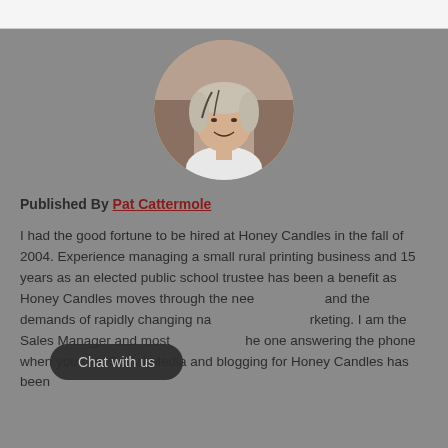[Figure (photo): Circular profile photo of Pat Cattermole, a woman with grey and blonde hair, smiling, wearing a white top, with a library or shelving background.]
Published By Pat Cattermole
I had the good fortune to be hired at Honey Candles in the fall of 2004. Experience managing a small rural printing business and 15 years as an elected public school trustee has been a benefit as Honey Candles moves through the needs and the demands of rapidly changing nature of marketing. I am the Sales Manager and most likely to be the one answering the phone when you call. Social Media and blogging for Honey Candles has been